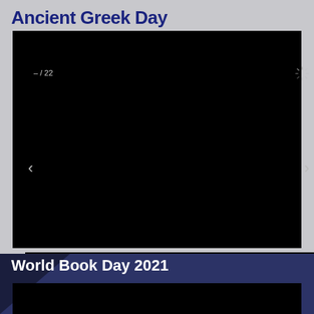Ancient Greek Day
[Figure (screenshot): Black video player with navigation arrows, play button, fullscreen icon, page counter showing – / 22, and loading spinner in top-right corner.]
World Book Day 2021
[Figure (screenshot): Partial black video player with loading spinner in top-right, shown at bottom of page. A badge with star logo visible in bottom-left corner.]